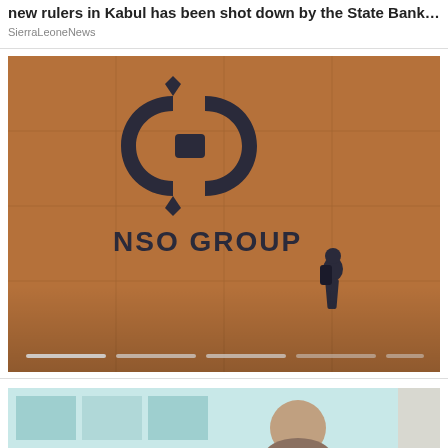new rulers in Kabul has been shot down by the State Bank o...
SierraLeoneNews
[Figure (photo): NSO Group logo on an orange/terracotta wall, with a person walking in the lower right. A slideshow progress indicator is visible at the bottom.]
[Figure (photo): Partial bottom image, showing light teal/blue tones and a partial figure (head), cropped.]